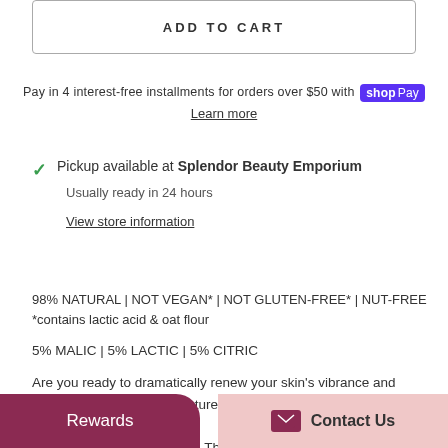ADD TO CART
Pay in 4 interest-free installments for orders over $50 with shop Pay
Learn more
Pickup available at Splendor Beauty Emporium
Usually ready in 24 hours
View store information
98% NATURAL | NOT VEGAN* | NOT GLUTEN-FREE* | NUT-FREE
*contains lactic acid & oat flour
5% MALIC | 5% LACTIC | 5% CITRIC
Are you ready to dramatically renew your skin’s vibrance and deliver instantly smooth texture in just one use? Prepare for fruit tingles! If you…al acid peel before, you’re in for a mini…results). This pro…
Rewards
Contact Us